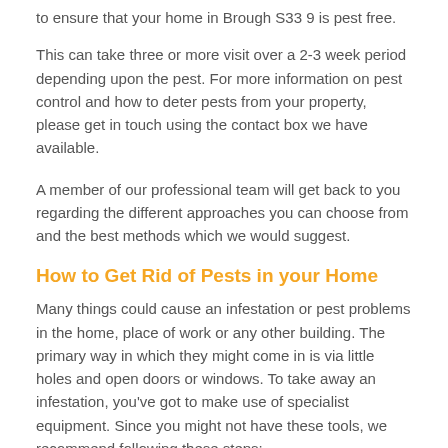to ensure that your home in Brough S33 9 is pest free.
This can take three or more visit over a 2-3 week period depending upon the pest. For more information on pest control and how to deter pests from your property, please get in touch using the contact box we have available.
A member of our professional team will get back to you regarding the different approaches you can choose from and the best methods which we would suggest.
How to Get Rid of Pests in your Home
Many things could cause an infestation or pest problems in the home, place of work or any other building. The primary way in which they might come in is via little holes and open doors or windows. To take away an infestation, you've got to make use of specialist equipment. Since you might not have these tools, we recommend following these steps:
1. Identify what type of pests are in your home (insects, rodents, birds)
2. Contact our team with the use of our enquiry form